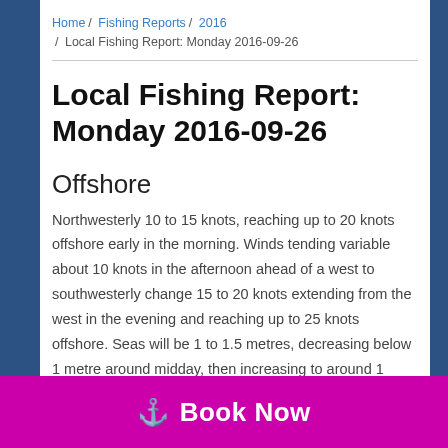Home / Fishing Reports / 2016 / Local Fishing Report: Monday 2016-09-26
Local Fishing Report: Monday 2016-09-26
Offshore
Northwesterly 10 to 15 knots, reaching up to 20 knots offshore early in the morning. Winds tending variable about 10 knots in the afternoon ahead of a west to southwesterly change 15 to 20 knots extending from the west in the evening and reaching up to 25 knots offshore. Seas will be 1 to 1.5 metres, decreasing below 1 metre around midday, then increasing to around 1 metre later in the evening. On The Hards there a... Big Halo... there's been snapper in the 2kg to 2.5kg range and a 17kg cobia taken. On Sunshine
⚓ Book Now